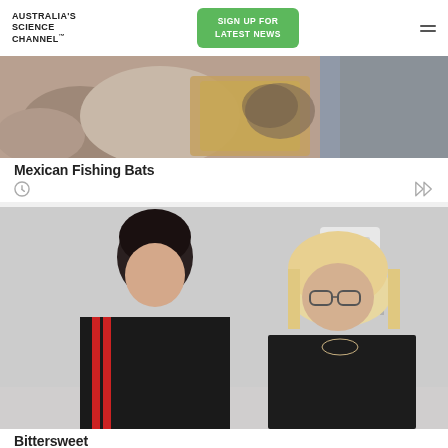Australia's Science Channel™
SIGN UP FOR LATEST NEWS
[Figure (photo): Close-up photo of Mexican Fishing Bats being held by a researcher wearing gloves]
Mexican Fishing Bats
[Figure (photo): Photo of a teenage boy in a dark sports shirt and a middle-aged woman with blonde hair and glasses sitting in a medical examination room]
Bittersweet